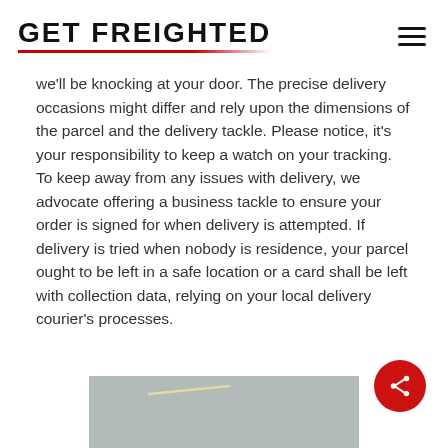GET FREIGHTED
we'll be knocking at your door. The precise delivery occasions might differ and rely upon the dimensions of the parcel and the delivery tackle. Please notice, it's your responsibility to keep a watch on your tracking. To keep away from any issues with delivery, we advocate offering a business tackle to ensure your order is signed for when delivery is attempted. If delivery is tried when nobody is residence, your parcel ought to be left in a safe location or a card shall be left with collection data, relying on your local delivery courier's processes.
[Figure (photo): Partial view of a grey-sky outdoor photo, cropped at bottom of page, with a faint light streak visible]